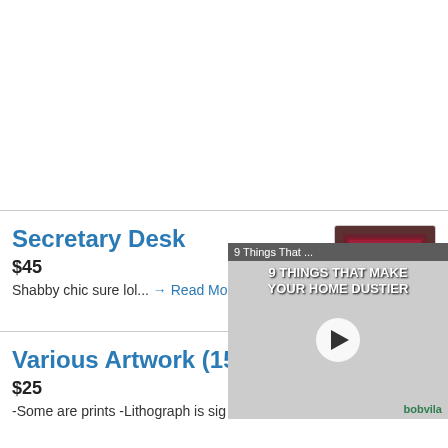[Figure (screenshot): Top blank white area (advertisement space)]
Secretary Desk
$45
Shabby chic sure lol... → Read More
[Figure (photo): Photo of a secretary desk with red/purple interior lining, opened drop-front style]
5 Photos
Various Artwork (15-20
$25
-Some are prints -Lithograph is sig
[Figure (screenshot): Video overlay: '9 Things That ...' / '9 THINGS THAT MAKE YOUR HOME DUSTIER' with play button, bobvila branding, dusty home interior background]